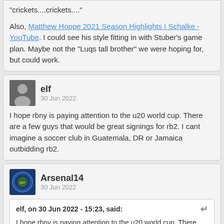"crickets....crickets...."
Also, Matthew Hoppe 2021 Season Highlights | Schalke - YouTube. I could see his style fitting in with Stuber's game plan. Maybe not the "Luqs tall brother" we were hoping for, but could work.
elf
30 Jun 2022
I hope rbny is paying attention to the u20 world cup. There are a few guys that would be great signings for rb2. I cant imagine a soccer club in Guatemala, DR or Jamaica outbidding rb2.
Arsenal14
30 Jun 2022
elf, on 30 Jun 2022 - 15:23, said:
I hope rbny is paying attention to the u20 world cup. There are a few guys that would be great signings for rb2. I cant imagine a soccer club in Guatemala, DR or Jamaica outbidding rb2.
Jorge Moreno is the talk of the town right now. Has saved like 6 of 12